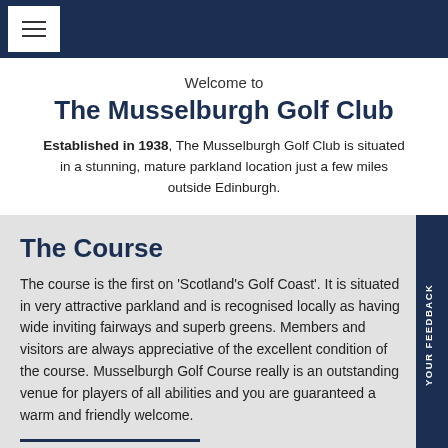≡
Welcome to
The Musselburgh Golf Club
Established in 1938, The Musselburgh Golf Club is situated in a stunning, mature parkland location just a few miles outside Edinburgh.
The Course
The course is the first on 'Scotland's Golf Coast'.  It is situated in very attractive parkland and is recognised locally as having wide inviting fairways and superb greens.  Members and visitors are always appreciative of the excellent condition of the course.  Musselburgh Golf Course really is an outstanding venue for players of all abilities and you are guaranteed a warm and friendly welcome.